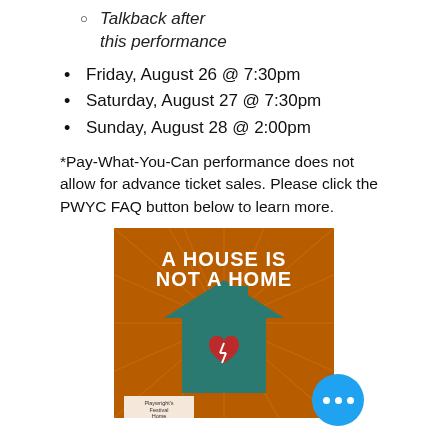Talkback after this performance
Friday, August 26 @ 7:30pm
Saturday, August 27 @ 7:30pm
Sunday, August 28 @ 2:00pm
*Pay-What-You-Can performance does not allow for advance ticket sales. Please click the PWYC FAQ button below to learn more.
[Figure (illustration): Poster for 'A House Is Not A Home' showing a teal house silhouette with a broken heart on an orange sunburst background. Text reads 'A HOUSE IS NOT A HOME'. Bottom left shows small text 'Playwright's Festival Home'.]